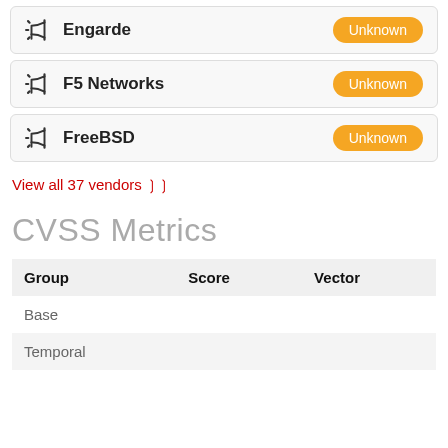Engarde — Unknown
F5 Networks — Unknown
FreeBSD — Unknown
View all 37 vendors
CVSS Metrics
| Group | Score | Vector |
| --- | --- | --- |
| Base |  |  |
| Temporal |  |  |